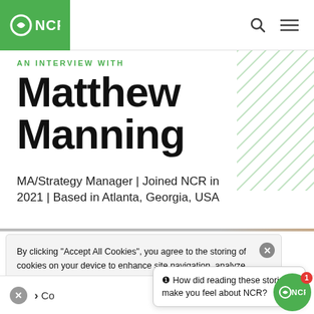NCR
AN INTERVIEW WITH
Matthew Manning
MA/Strategy Manager | Joined NCR in 2021 | Based in Atlanta, Georgia, USA
By clicking "Accept All Cookies", you agree to the storing of cookies on your device to enhance site navigation, analyze site usage, and assist in our marketing efforts.
❶ How did reading these stories make you feel about NCR?